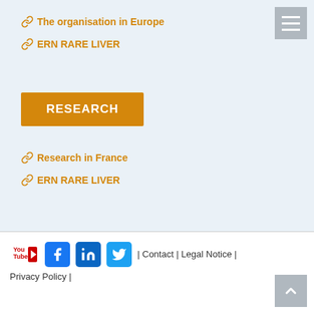The organisation in Europe
ERN RARE LIVER
RESEARCH
Research in France
ERN RARE LIVER
| Contact | Legal Notice | Privacy Policy |